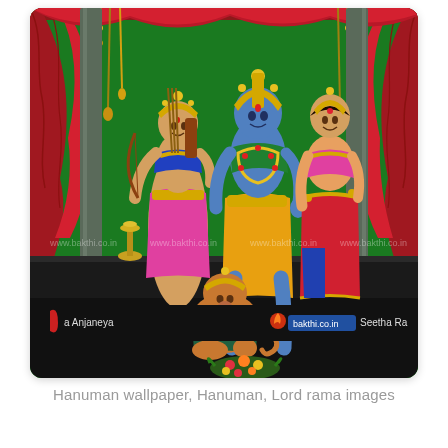[Figure (illustration): Hindu devotional illustration showing Lord Rama (center, blue-skinned, in yellow and green attire with crown and garlands), Lakshmana (left, warrior with bow and arrows, in pink and gold attire), and Sita (right, in red and gold saree). Hanuman kneels in devotion at their feet at the bottom center. The scene is set against a green background with red curtains and golden decorations on both sides, with oil lamps and stone pillars. Flower offerings are visible at the bottom. Watermarks 'www.bakthi.co.in' visible across the image. Partial text 'a Anjaneya' on lower left and 'Seetha Ra' on lower right with bakthi.co.in logo.]
Hanuman wallpaper, Hanuman, Lord rama images